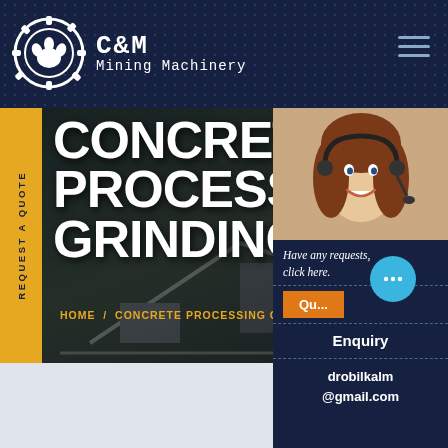[Figure (logo): C&M Mining Machinery logo with gear/claw icon in white on dark navy background]
CONCRETE PROCESSING GRINDING
REQUEST A QUOTE
HOME / CONCRETE PROCESSING G...
[Figure (photo): Customer service representative woman wearing a headset, smiling]
Have any requests, click here.
Quote
Enquiry
drobilkalm@gmail.com